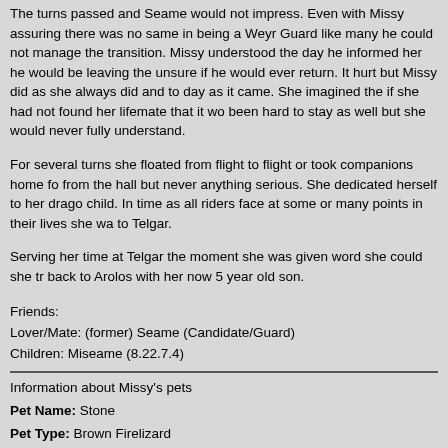The turns passed and Seame would not impress. Even with Missy assuring there was no same in being a Weyr Guard like many he could not manage the transition. Missy understood the day he informed her he would be leaving the unsure if he would ever return. It hurt but Missy did as she always did and took day as it came. She imagined the if she had not found her lifemate that it would been hard to stay as well but she would never fully understand.
For several turns she floated from flight to flight or took companions home from the hall but never anything serious. She dedicated herself to her dragon and child. In time as all riders face at some or many points in their lives she was sent to Telgar.
Serving her time at Telgar the moment she was given word she could she transferred back to Arolos with her now 5 year old son.
Friends:
Lover/Mate: (former) Seame (Candidate/Guard)
Children: Miseame (8.22.7.4)
Information about Missy's pets
Pet Name: Stone
Pet Type: Brown Firelizard
Appearance: Stone's main color is a light summer dust. The color you will find on a dirt road in the middle of a drought. The hide on his belly is a deep brown. The color of the dirt right after a hard spring rain. Across his chest in line is a small scar from one of his many fights with a stick. Another little scar fight with a fish goes from his right shoulder to his middle claw.
Stone is very large for a brown. About the largest one you could find. Hes not either. This firelizard does pack on a few extra pounds, but not enough as to